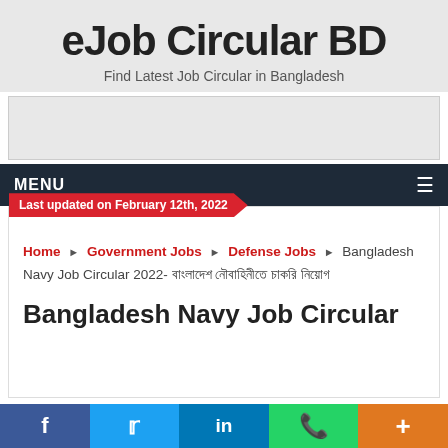eJob Circular BD
Find Latest Job Circular in Bangladesh
[Advertisement area]
MENU
Last updated on February 12th, 2022
Home > Government Jobs > Defense Jobs > Bangladesh Navy Job Circular 2022- বাংলাদেশ নৌবাহিনীতে চাকরি নিয়োগ
Bangladesh Navy Job Circular
f  [Twitter bird]  in  [WhatsApp]  +